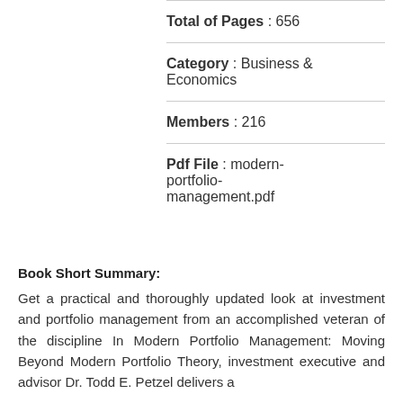Total of Pages : 656
Category : Business & Economics
Members : 216
Pdf File: modern-portfolio-management.pdf
Book Short Summary:
Get a practical and thoroughly updated look at investment and portfolio management from an accomplished veteran of the discipline In Modern Portfolio Management: Moving Beyond Modern Portfolio Theory, investment executive and advisor Dr. Todd E. Petzel delivers a